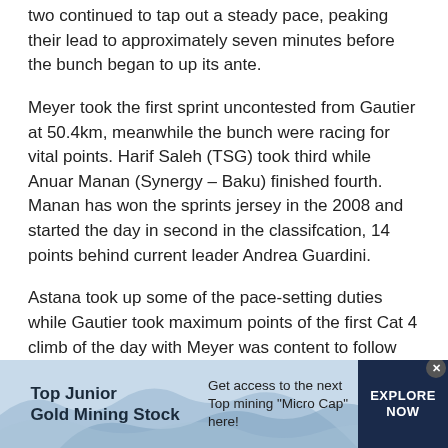two continued to tap out a steady pace, peaking their lead to approximately seven minutes before the bunch began to up its ante.
Meyer took the first sprint uncontested from Gautier at 50.4km, meanwhile the bunch were racing for vital points. Harif Saleh (TSG) took third while Anuar Manan (Synergy – Baku) finished fourth. Manan has won the sprints jersey in the 2008 and started the day in second in the classifcation, 14 points behind current leader Andrea Guardini.
Astana took up some of the pace-setting duties while Gautier took maximum points of the first Cat 4 climb of the day with Meyer was content to follow his Europcar companion over the top.
[Figure (other): Advertisement banner for Top Junior Gold Mining Stock. Left section: bold text 'Top Junior Gold Mining Stock'. Middle section: 'Get access to the next Top mining "Micro Cap" here!'. Right section: dark navy button with 'EXPLORE NOW'. Background is light blue with wave/mountain shapes.]